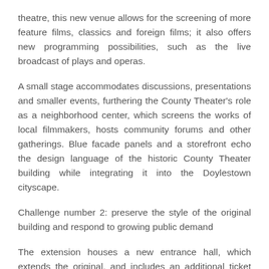theatre, this new venue allows for the screening of more feature films, classics and foreign films; it also offers new programming possibilities, such as the live broadcast of plays and operas.
A small stage accommodates discussions, presentations and smaller events, furthering the County Theater's role as a neighborhood center, which screens the works of local filmmakers, hosts community forums and other gatherings. Blue facade panels and a storefront echo the design language of the historic County Theater building while integrating it into the Doylestown cityscape.
Challenge number 2: preserve the style of the original building and respond to growing public demand
The extension houses a new entrance hall, which extends the original, and includes an additional ticket office. This new lobby also makes room for a concession stand – something in the fillmore mind that is in the original building